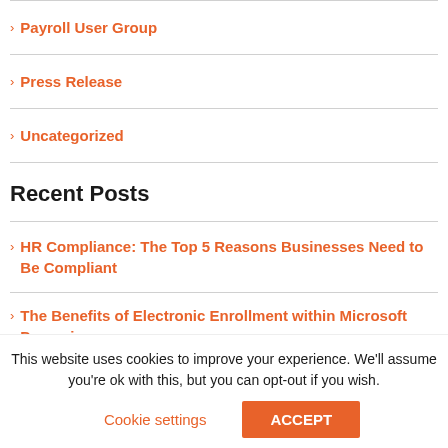Payroll User Group
Press Release
Uncategorized
Recent Posts
HR Compliance: The Top 5 Reasons Businesses Need to Be Compliant
The Benefits of Electronic Enrollment within Microsoft Dynamics
This website uses cookies to improve your experience. We'll assume you're ok with this, but you can opt-out if you wish.
Cookie settings  ACCEPT